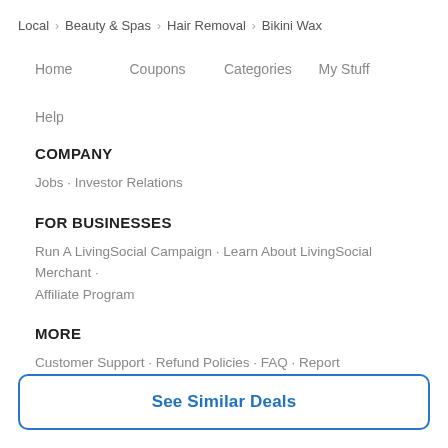Local > Beauty & Spas > Hair Removal > Bikini Wax
Home
Coupons
Categories
My Stuff
Help
COMPANY
Jobs · Investor Relations
FOR BUSINESSES
Run A LivingSocial Campaign · Learn About LivingSocial Merchant · Affiliate Program
MORE
Customer Support · Refund Policies · FAQ · Report Infringement
See Similar Deals